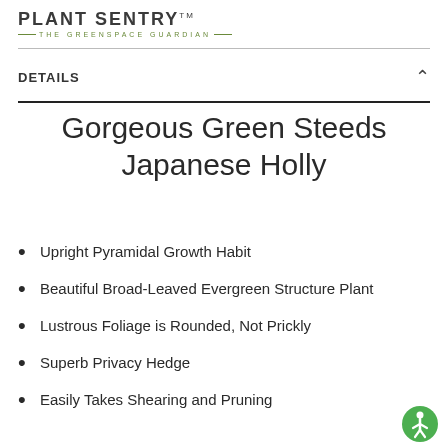PLANT SENTRY™ — THE GREENSPACE GUARDIAN —
DETAILS
Gorgeous Green Steeds Japanese Holly
Upright Pyramidal Growth Habit
Beautiful Broad-Leaved Evergreen Structure Plant
Lustrous Foliage is Rounded, Not Prickly
Superb Privacy Hedge
Easily Takes Shearing and Pruning